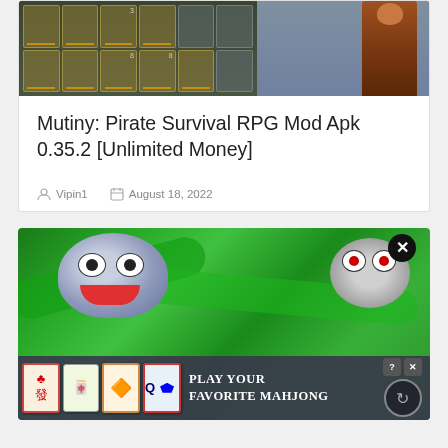[Figure (screenshot): Game inventory screenshot from Mutiny: Pirate Survival RPG showing items grid and character]
Mutiny: Pirate Survival RPG Mod Apk 0.35.2 [Unlimited Money]
Vipin1  August 18, 2022
[Figure (screenshot): Colorful mobile game screenshot with cartoon creatures on green background, showing a Mahjong advertisement at the bottom reading PLAY YOUR FAVORITE MAHJONG]